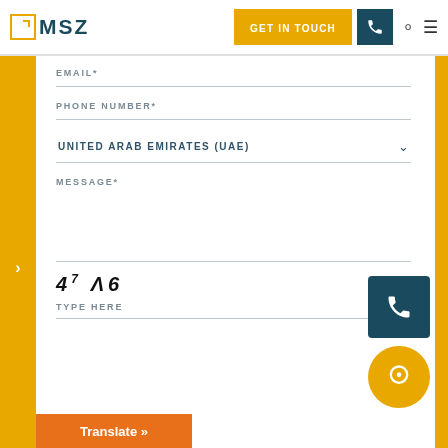[Figure (screenshot): MSZ website header navigation bar with logo, 'GET IN TOUCH' button, phone icon, search icon, and hamburger menu icon]
EMAIL*
PHONE NUMBER*
UNITED ARAB EMIRATES (UAE)
MESSAGE*
[Figure (other): CAPTCHA image showing characters: 4 7 A 6]
TYPE HERE